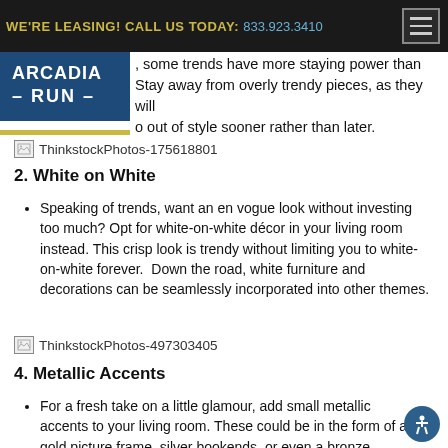WE'RE LEASING! CALL US TODAY: 833.923.3410
[Figure (logo): Arcadia Run logo — white text on blue background with yellow underline bar]
, some trends have more staying power than  Stay away from overly trendy pieces, as they will o out of style sooner rather than later.
[Figure (photo): Broken image placeholder: ThinkstockPhotos-175618801]
2. White on White
Speaking of trends, want an en vogue look without investing too much? Opt for white-on-white décor in your living room instead. This crisp look is trendy without limiting you to white-on-white forever.  Down the road, white furniture and decorations can be seamlessly incorporated into other themes.
[Figure (photo): Broken image placeholder: ThinkstockPhotos-497303405]
4. Metallic Accents
For a fresh take on a little glamour, add small metallic accents to your living room. These could be in the form of a gold picture frame, silver bookends, or even a bronze accented coffee table.  Whatever you